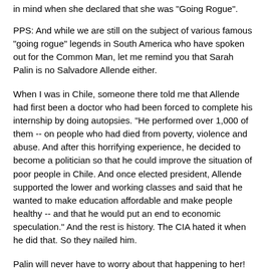in mind when she declared that she was "Going Rogue".
PPS: And while we are still on the subject of various famous "going rogue" legends in South America who have spoken out for the Common Man, let me remind you that Sarah Palin is no Salvadore Allende either.
When I was in Chile, someone there told me that Allende had first been a doctor who had been forced to complete his internship by doing autopsies. "He performed over 1,000 of them -- on people who had died from poverty, violence and abuse. And after this horrifying experience, he decided to become a politician so that he could improve the situation of poor people in Chile. And once elected president, Allende supported the lower and working classes and said that he wanted to make education affordable and make people healthy -- and that he would put an end to economic speculation." And the rest is history. The CIA hated it when he did that. So they nailed him.
Palin will never have to worry about that happening to her!